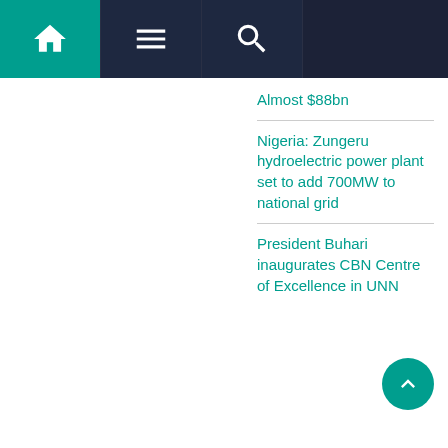Navigation bar with home, menu, and search icons
Almost $88bn
Nigeria: Zungeru hydroelectric power plant set to add 700MW to national grid
President Buhari inaugurates CBN Centre of Excellence in UNN